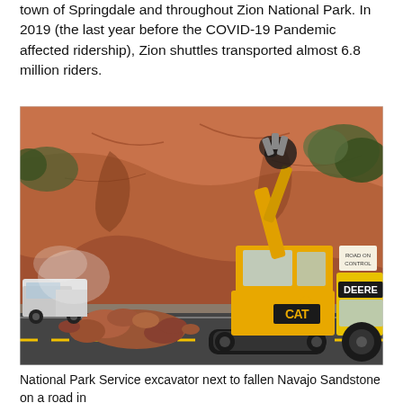town of Springdale and throughout Zion National Park. In 2019 (the last year before the COVID-19 Pandemic affected ridership), Zion shuttles transported almost 6.8 million riders.
[Figure (photo): National Park Service CAT excavator and John Deere loader working next to fallen Navajo Sandstone boulders on a road in Zion National Park. Red rock canyon walls and trees visible in background. A white truck is parked to the left.]
National Park Service excavator next to fallen Navajo Sandstone on a road in